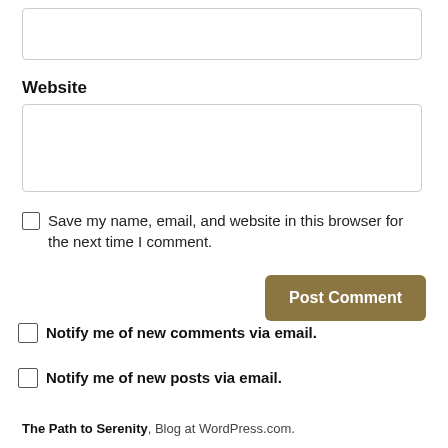[Figure (screenshot): Empty text input box at the top of the form]
Website
[Figure (screenshot): Empty text input box for website URL]
Save my name, email, and website in this browser for the next time I comment.
[Figure (screenshot): Post Comment button with olive/tan background]
Notify me of new comments via email.
Notify me of new posts via email.
The Path to Serenity, Blog at WordPress.com.